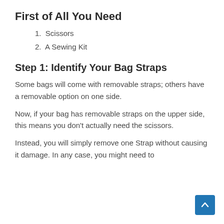First of All You Need
1. Scissors
2. A Sewing Kit
Step 1: Identify Your Bag Straps
Some bags will come with removable straps; others have a removable option on one side.
Now, if your bag has removable straps on the upper side, this means you don't actually need the scissors.
Instead, you will simply remove one Strap without causing it damage. In any case, you might need to